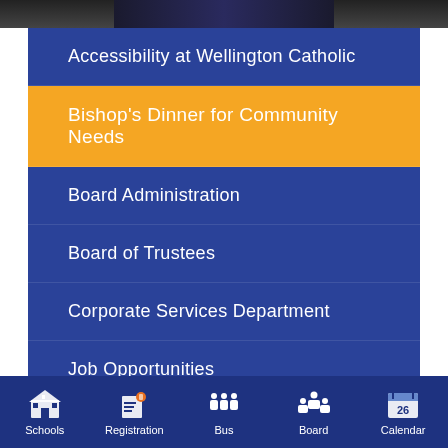[Figure (screenshot): Top partial image strip showing dark banner]
Accessibility at Wellington Catholic
Bishop's Dinner for Community Needs
Board Administration
Board of Trustees
Corporate Services Department
Job Opportunities
Plant and Operations
Schools  Registration  Bus  Board  Calendar